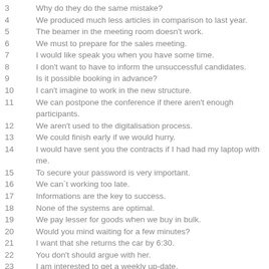3   Why do they do the same mistake?
4   We produced much less articles in comparison to last year.
5   The beamer in the meeting room doesn't work.
6   We must to prepare for the sales meeting.
7   I would like speak you when you have some time.
8   I don't want to have to inform the unsuccessful candidates.
9   Is it possible booking in advance?
10  I can't imagine to work in the new structure.
11  We can postpone the conference if there aren't enough participants.
12  We aren't used to the digitalisation process.
13  We could finish early if we would hurry.
14  I would have sent you the contracts if I had had my laptop with me.
15  To secure your password is very important.
16  We can`t working too late.
17  Informations are the key to success.
18  None of the systems are optimal.
19  We pay lesser for goods when we buy in bulk.
20  Would you mind waiting for a few minutes?
21  I want that she returns the car by 6:30.
22  You don't should argue with her.
23  I am interested to get a weekly up-date.
24  The machines should be handled with care because they are very sensible.